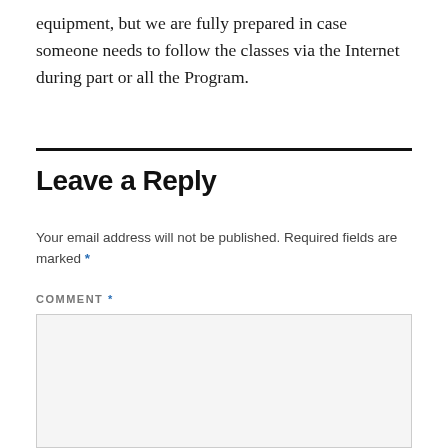equipment, but we are fully prepared in case someone needs to follow the classes via the Internet during part or all the Program.
Leave a Reply
Your email address will not be published. Required fields are marked *
COMMENT *